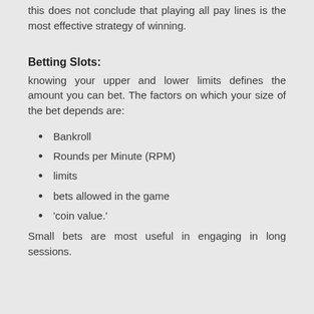this does not conclude that playing all pay lines is the most effective strategy of winning.
Betting Slots:
knowing your upper and lower limits defines the amount you can bet. The factors on which your size of the bet depends are:
Bankroll
Rounds per Minute (RPM)
limits
bets allowed in the game
'coin value.'
Small bets are most useful in engaging in long sessions.